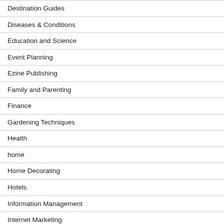Destination Guides
Diseases & Conditions
Education and Science
Event Planning
Ezine Publishing
Family and Parenting
Finance
Gardening Techniques
Health
home
Home Decorating
Hotels
Information Management
Internet Marketing